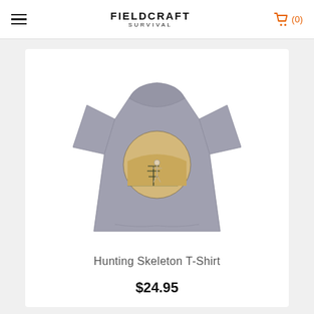FIELDCRAFT SURVIVAL
[Figure (photo): Back view of a gray short-sleeve t-shirt with a circular graphic on the back featuring a skeleton hunting scene in a mountain/forest landscape]
Hunting Skeleton T-Shirt
$24.95